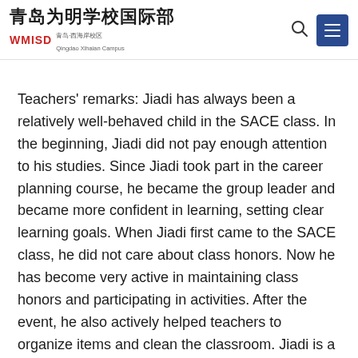青岛为明学校国际部 WMISD 青岛·西海岸校区 Qingdao Xihaian Campus
Teachers' remarks: Jiadi has always been a relatively well-behaved child in the SACE class. In the beginning, Jiadi did not pay enough attention to his studies. Since Jiadi took part in the career planning course, he became the group leader and became more confident in learning, setting clear learning goals. When Jiadi first came to the SACE class, he did not care about class honors. Now he has become very active in maintaining class honors and participating in activities. After the event, he also actively helped teachers to organize items and clean the classroom. Jiadi is a good student with excellent academic performance. He often helps other students to learn Mathematics and English. He has been a good role model